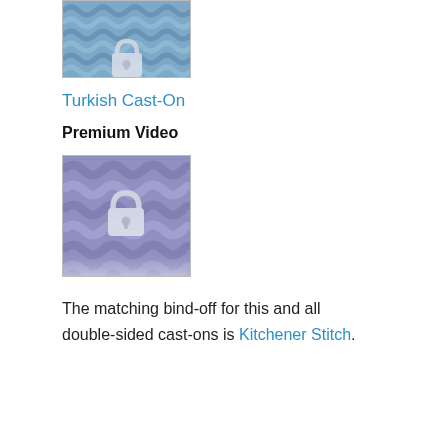[Figure (photo): Thumbnail of blue chunky knit fabric with a lock icon overlay, partially cropped at top]
Turkish Cast-On
Premium Video
[Figure (photo): Thumbnail of lavender/purple chunky knit fabric with a lock icon overlay]
The matching bind-off for this and all double-sided cast-ons is Kitchener Stitch.